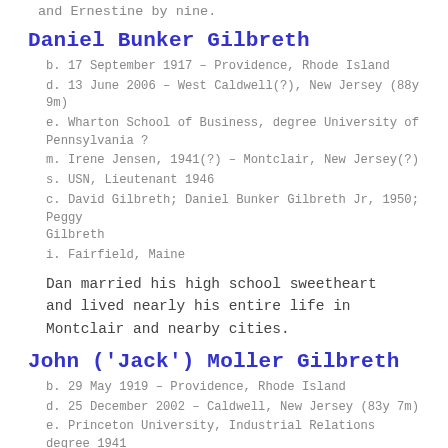and Ernestine by nine.
Daniel Bunker Gilbreth
b. 17 September 1917 – Providence, Rhode Island
d. 13 June 2006 – West Caldwell(?), New Jersey (88y 9m)
e. Wharton School of Business, degree University of Pennsylvania ?
m. Irene Jensen, 1941(?) – Montclair, New Jersey(?)
s. USN, Lieutenant 1946
c. David Gilbreth; Daniel Bunker Gilbreth Jr, 1950; Peggy Gilbreth
i. Fairfield, Maine
Dan married his high school sweetheart and lived nearly his entire life in Montclair and nearby cities.
John ('Jack') Moller Gilbreth
b. 29 May 1919 – Providence, Rhode Island
d. 25 December 2002 – Caldwell, New Jersey (83y 7m)
e. Princeton University, Industrial Relations degree 1941
m. Dorothy Girvan, 1944(?) – Montclair, NJ(?)
s. USN, radio tech, 1945
c. Peter Gilbreth, 1948; James Bunker Gilbreth, 1949–2008;